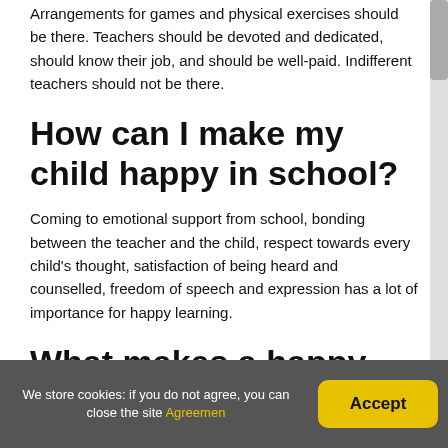Arrangements for games and physical exercises should be there. Teachers should be devoted and dedicated, should know their job, and should be well-paid. Indifferent teachers should not be there.
How can I make my child happy in school?
Coming to emotional support from school, bonding between the teacher and the child, respect towards every child's thought, satisfaction of being heard and counselled, freedom of speech and expression has a lot of importance for happy learning.
What makes a happy
We store cookies: if you do not agree, you can close the site Agreemen